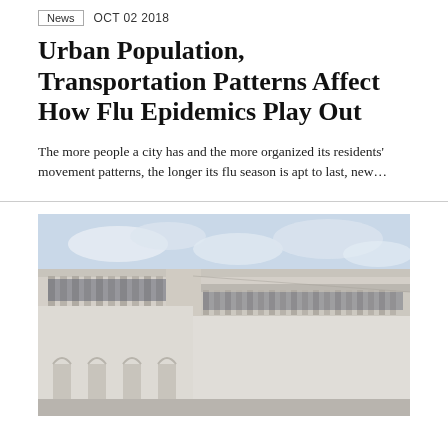News  OCT 02 2018
Urban Population, Transportation Patterns Affect How Flu Epidemics Play Out
The more people a city has and the more organized its residents' movement patterns, the longer its flu season is apt to last, new…
[Figure (photo): Exterior corner of a large modernist concrete building with vertical fin columns and arched supports below, photographed from below against a cloudy sky.]